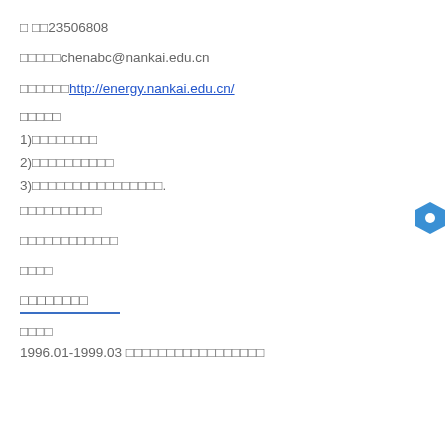□ □□23506808
□□□□□chenabc@nankai.edu.cn
□□□□□□http://energy.nankai.edu.cn/
□□□□□
1)□□□□□□□□
2)□□□□□□□□□□
3)□□□□□□□□□□□□□□□□.
□□□□□□□□□□
□□□□□□□□□□□□
□□□□
□□□□□□□□
□□□□
1996.01-1999.03 □□□□□□□□□□□□□□□□□